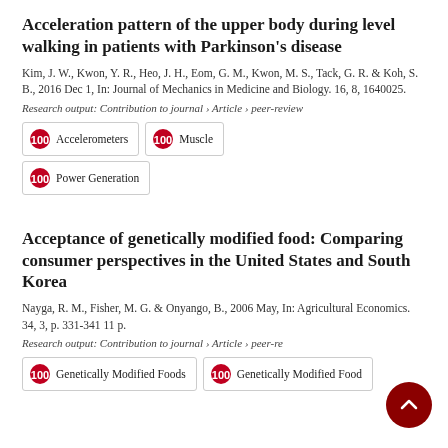Acceleration pattern of the upper body during level walking in patients with Parkinson's disease
Kim, J. W., Kwon, Y. R., Heo, J. H., Eom, G. M., Kwon, M. S., Tack, G. R. & Koh, S. B., 2016 Dec 1, In: Journal of Mechanics in Medicine and Biology. 16, 8, 1640025.
Research output: Contribution to journal › Article › peer-review
Accelerometers | Muscle | Power Generation
Acceptance of genetically modified food: Comparing consumer perspectives in the United States and South Korea
Nayga, R. M., Fisher, M. G. & Onyango, B., 2006 May, In: Agricultural Economics. 34, 3, p. 331-341 11 p.
Research output: Contribution to journal › Article › peer-review
Genetically Modified Foods | Genetically Modified Food